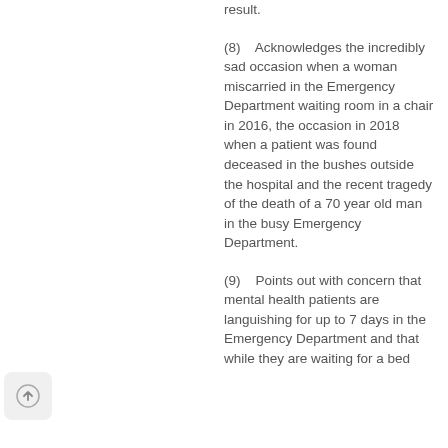result.
(8)    Acknowledges the incredibly sad occasion when a woman miscarried in the Emergency Department waiting room in a chair in 2016, the occasion in 2018 when a patient was found deceased in the bushes outside the hospital and the recent tragedy of the death of a 70 year old man in the busy Emergency Department.
(9)    Points out with concern that mental health patients are languishing for up to 7 days in the Emergency Department and that while they are waiting for a bed